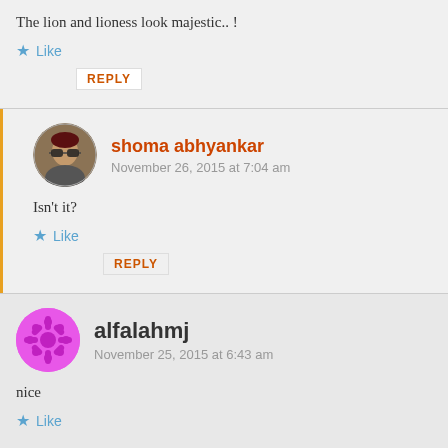The lion and lioness look majestic.. !
Like
REPLY
shoma abhyankar
November 26, 2015 at 7:04 am
Isn't it?
Like
REPLY
alfalahmj
November 25, 2015 at 6:43 am
nice
Like